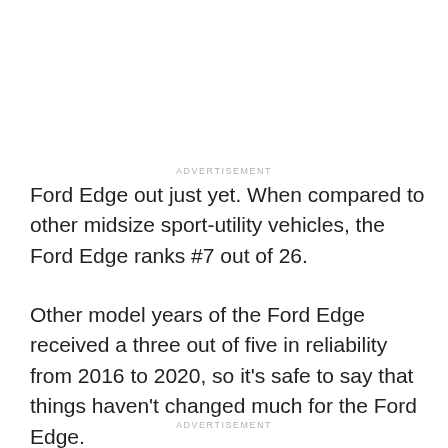ADVERTISEMENT
Ford Edge out just yet. When compared to other midsize sport-utility vehicles, the Ford Edge ranks #7 out of 26.
Other model years of the Ford Edge received a three out of five in reliability from 2016 to 2020, so it's safe to say that things haven't changed much for the Ford Edge.
ADVERTISEMENT